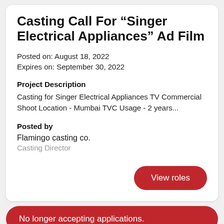Casting Call For "Singer Electrical Appliances" Ad Film
Posted on: August 18, 2022
Expires on: September 30, 2022
Project Description
Casting for Singer Electrical Appliances TV Commercial Shoot Location - Mumbai TVC Usage - 2 years...
Posted by
Flamingo casting co.
Casting Director
View roles
No longer accepting applications.